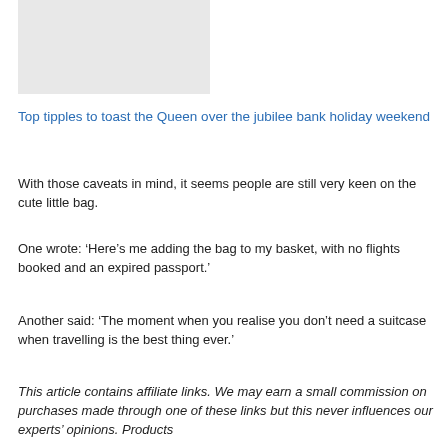[Figure (photo): Gray placeholder image rectangle on the left side of the page]
Top tipples to toast the Queen over the jubilee bank holiday weekend
With those caveats in mind, it seems people are still very keen on the cute little bag.
One wrote: ‘Here’s me adding the bag to my basket, with no flights booked and an expired passport.’
Another said: ‘The moment when you realise you don’t need a suitcase when travelling is the best thing ever.’
This article contains affiliate links. We may earn a small commission on purchases made through one of these links but this never influences our experts’ opinions. Products